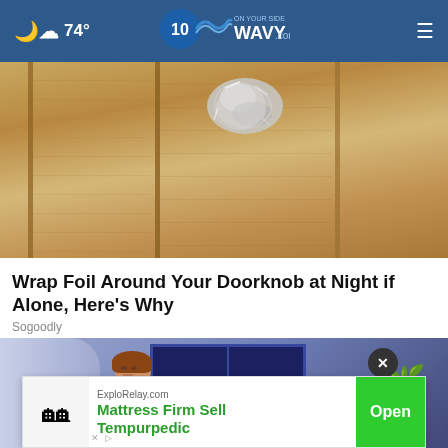74° WAVY.com ON YOUR SIDE
[Figure (photo): Close-up photo of a wooden door with aluminum foil wrapped around the doorknob]
Wrap Foil Around Your Doorknob at Night if Alone, Here's Why
Sogoodly
[Figure (illustration): Animated illustration of a person lying in bed at night near a window with plants]
[Figure (infographic): Advertisement banner: ExploRelay.com - Mattress Firm Sell Tempurpedic - Open button]